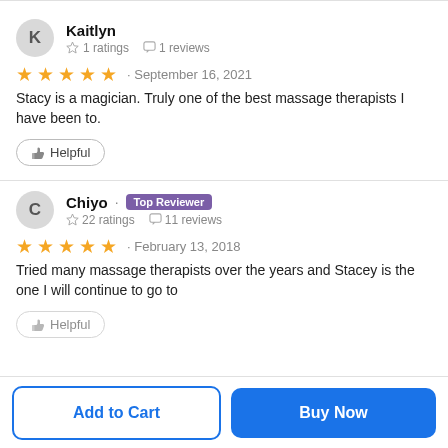Kaitlyn — 1 ratings, 1 reviews — ★★★★★ · September 16, 2021 — Stacy is a magician. Truly one of the best massage therapists I have been to. — Helpful
Chiyo · Top Reviewer — 22 ratings, 11 reviews — ★★★★★ · February 13, 2018 — Tried many massage therapists over the years and Stacey is the one I will continue to go to — Helpful
Add to Cart | Buy Now